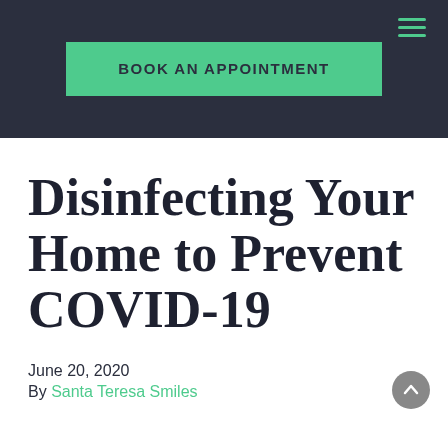BOOK AN APPOINTMENT
Disinfecting Your Home to Prevent COVID-19
June 20, 2020
By Santa Teresa Smiles